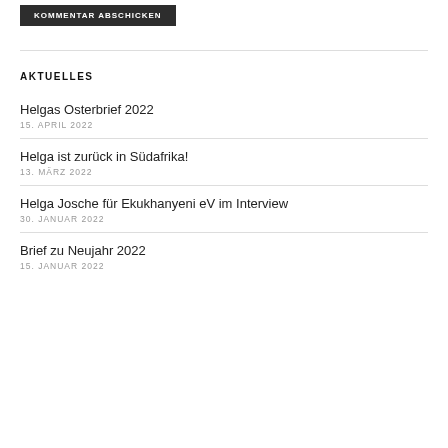[Figure (other): Button with label KOMMENTAR ABSCHICKEN on dark background]
AKTUELLES
Helgas Osterbrief 2022
15. APRIL 2022
Helga ist zurück in Südafrika!
13. MÄRZ 2022
Helga Josche für Ekukhanyeni eV im Interview
30. JANUAR 2022
Brief zu Neujahr 2022
15. JANUAR 2022